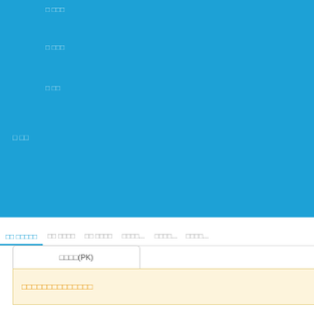[Figure (screenshot): Blue header area with light blue placeholder text lines at various vertical positions]
□ □□□
□ □□□
□ □□
□ □□
□□ □□□□□   □□ □□□□   □□ □□□□   □□□□...   □□□□...   □□□□...
□□□□(PK)
□□□□□□□□□□□□□□
□□□The dog's praise
□□Ta□  □.
Ta□□□230.5□/□□
Ta□□□2□
□□□□100%
□□, □□□□□□□□□□□□□□□□□□□□□□
□□□□□□□(PK)  □□□□□□□□
□□□□(□□*□□□)□□ 230.5 □□□□□□!
Gentlemen of
ainst him and